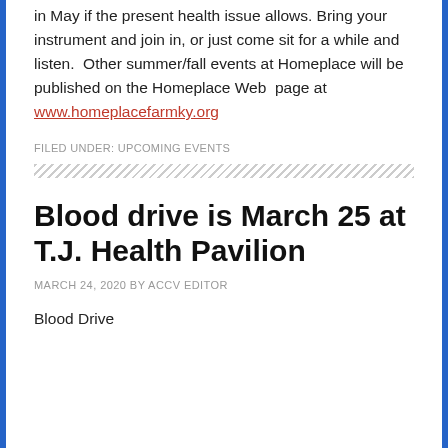in May if the present health issue allows. Bring your instrument and join in, or just come sit for a while and listen.  Other summer/fall events at Homeplace will be published on the Homeplace Web  page at www.homeplacefarmky.org
FILED UNDER: UPCOMING EVENTS
Blood drive is March 25 at T.J. Health Pavilion
MARCH 24, 2020 BY ACCV EDITOR
Blood Drive